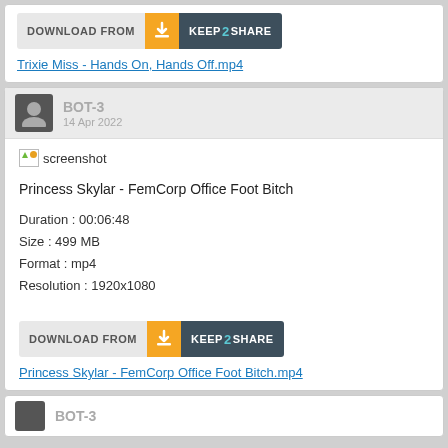[Figure (screenshot): Download from Keep2Share button]
Trixie Miss - Hands On, Hands Off.mp4
BOT-3
14 Apr 2022
[Figure (screenshot): Broken image placeholder labeled screenshot]
Princess Skylar - FemCorp Office Foot Bitch
Duration : 00:06:48
Size : 499 MB
Format : mp4
Resolution : 1920x1080
[Figure (screenshot): Download from Keep2Share button]
Princess Skylar - FemCorp Office Foot Bitch.mp4